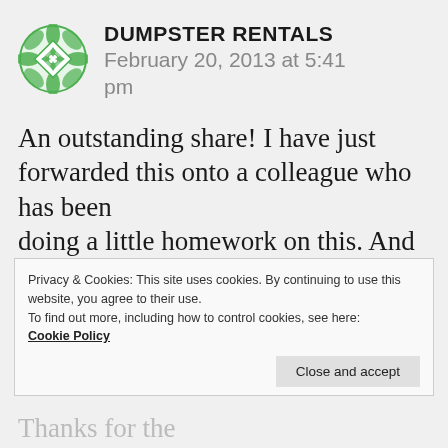DUMPSTER RENTALS
February 20, 2013 at 5:41 pm
An outstanding share! I have just forwarded this onto a colleague who has been doing a little homework on this. And
Privacy & Cookies: This site uses cookies. By continuing to use this website, you agree to their use.
To find out more, including how to control cookies, see here:
Cookie Policy
Close and accept
Thanks for the